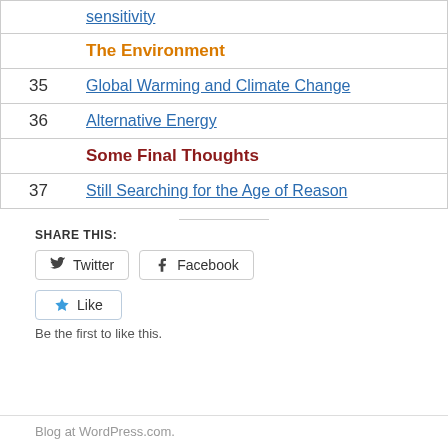| # | Title |
| --- | --- |
|  | sensitivity |
|  | The Environment |
| 35 | Global Warming and Climate Change |
| 36 | Alternative Energy |
|  | Some Final Thoughts |
| 37 | Still Searching for the Age of Reason |
SHARE THIS:
Twitter  Facebook
Like
Be the first to like this.
Blog at WordPress.com.